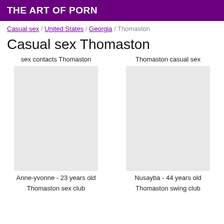THE ART OF PORN
Casual sex / United States / Georgia / Thomaston
Casual sex Thomaston
sex contacts Thomaston
Thomaston casual sex
[Figure (photo): Profile photo placeholder for Anne-yvonne]
[Figure (photo): Profile photo placeholder for Nusayba]
Anne-yvonne - 23 years old
Nusayba - 44 years old
Thomaston sex club
Thomaston swing club